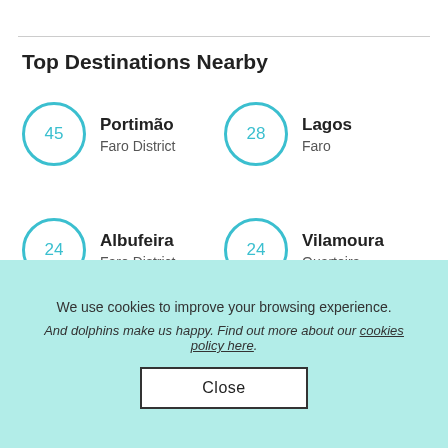Top Destinations Nearby
45 Portimão – Faro District
28 Lagos – Faro
24 Albufeira – Faro District
24 Vilamoura – Quarteira
We use cookies to improve your browsing experience. And dolphins make us happy. Find out more about our cookies policy here.
Close